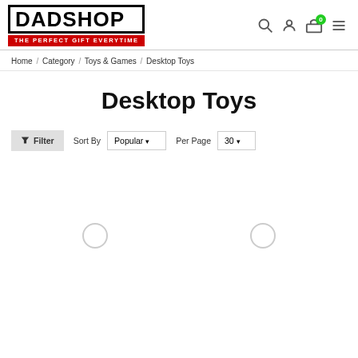[Figure (logo): DADSHOP logo with bold black text and red tagline 'THE PERFECT GIFT EVERYTIME']
Home / Category / Toys & Games / Desktop Toys
Desktop Toys
Filter  Sort By  Popular ▾  Per Page  30 ▾
[Figure (other): Loading spinner circles for product images]